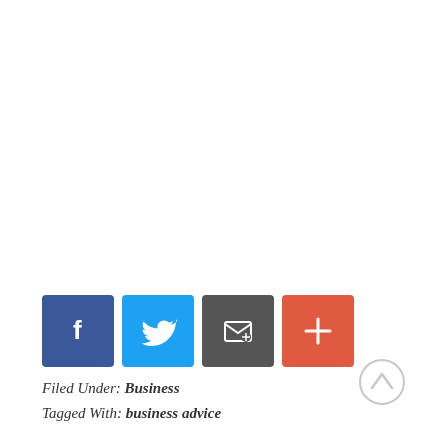[Figure (infographic): Row of four social sharing buttons: Facebook (blue, 'f'), Twitter (light blue, bird icon), Email (dark grey, envelope icon), and More/Share (red-orange, '+' icon)]
Filed Under: Business
Tagged With: business advice
[Figure (other): Circular scroll-to-top button with an upward pointing arrow, grey outline]